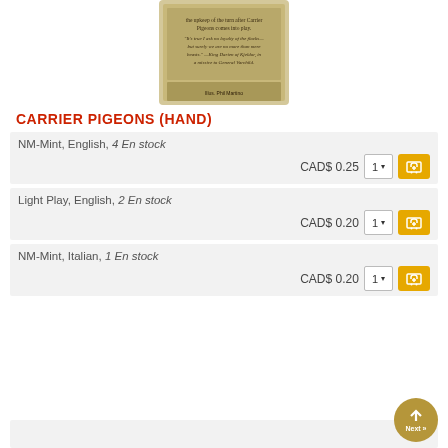[Figure (photo): Card image for Carrier Pigeons showing flavor text and card details]
CARRIER PIGEONS (HAND)
NM-Mint, English, 4 En stock
CAD$ 0.25  1▾  [cart button]
Light Play, English, 2 En stock
CAD$ 0.20  1▾  [cart button]
NM-Mint, Italian, 1 En stock
CAD$ 0.20  1▾  [cart button]